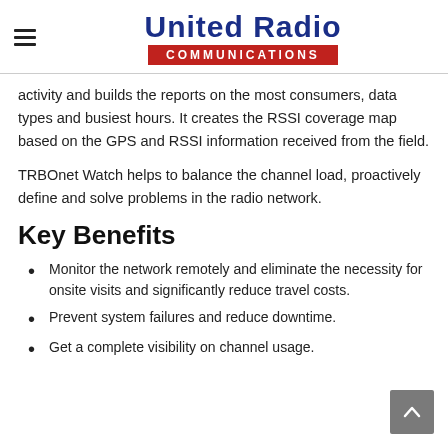United Radio COMMUNICATIONS
activity and builds the reports on the most consumers, data types and busiest hours. It creates the RSSI coverage map based on the GPS and RSSI information received from the field.
TRBOnet Watch helps to balance the channel load, proactively define and solve problems in the radio network.
Key Benefits
Monitor the network remotely and eliminate the necessity for onsite visits and significantly reduce travel costs.
Prevent system failures and reduce downtime.
Get a complete visibility on channel usage.